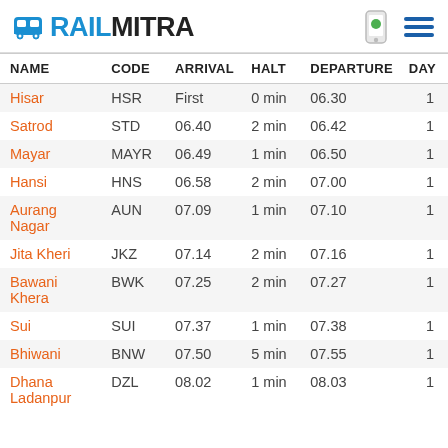RAILMITRA
| NAME | CODE | ARRIVAL | HALT | DEPARTURE | DAY |
| --- | --- | --- | --- | --- | --- |
| Hisar | HSR | First | 0 min | 06.30 | 1 |
| Satrod | STD | 06.40 | 2 min | 06.42 | 1 |
| Mayar | MAYR | 06.49 | 1 min | 06.50 | 1 |
| Hansi | HNS | 06.58 | 2 min | 07.00 | 1 |
| Aurang Nagar | AUN | 07.09 | 1 min | 07.10 | 1 |
| Jita Kheri | JKZ | 07.14 | 2 min | 07.16 | 1 |
| Bawani Khera | BWK | 07.25 | 2 min | 07.27 | 1 |
| Sui | SUI | 07.37 | 1 min | 07.38 | 1 |
| Bhiwani | BNW | 07.50 | 5 min | 07.55 | 1 |
| Dhana Ladanpur | DZL | 08.02 | 1 min | 08.03 | 1 |